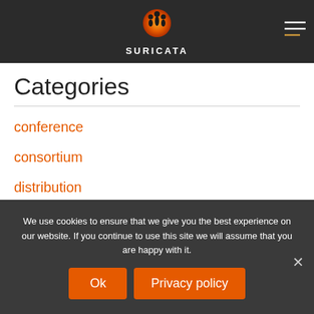SURICATA
Categories
conference
consortium
distribution
news
We use cookies to ensure that we give you the best experience on our website. If you continue to use this site we will assume that you are happy with it.